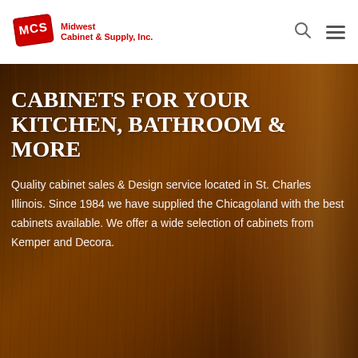[Figure (logo): MCS Midwest Cabinet & Supply, Inc. logo with red badge and company name]
CABINETS FOR YOUR KITCHEN, BATHROOM & MORE
Quality cabinet sales & Design service located in St. Charles Illinois. Since 1984 we have supplied the Chicagoland with the best cabinets available. We offer a wide selection of cabinets from Kemper and Decora.